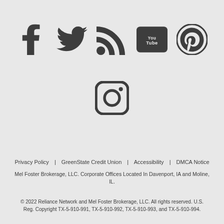[Figure (illustration): Row of social media icons: Facebook, Twitter, RSS feed, YouTube, Pinterest]
[Figure (illustration): Instagram social media icon]
Privacy Policy | GreenState Credit Union | Accessibility | DMCA Notice
Mel Foster Brokerage, LLC. Corporate Offices Located In Davenport, IA and Moline, IL.
© 2022 Reliance Network and Mel Foster Brokerage, LLC. All rights reserved. U.S. Reg. Copyright TX-5-910-991, TX-5-910-992, TX-5-910-993, and TX-5-910-994.
Equal Housing Opportunity